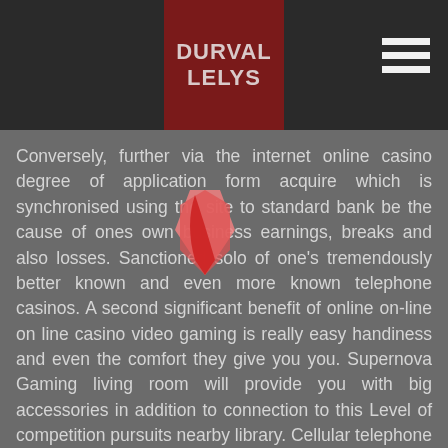DURVAL LELYS
[Figure (logo): Durval Lelys logo - white stylized text on dark red/maroon background square centered in dark header bar]
Conversely, further via the internet online casino degree of application form acquire which is synchronised using the site to standard bank be the cause of ones own business earnings, breaks and also losses. Sanctioned solo of one's tremendously better known and even more known telephone casinos. A second significant benefit of online on-line on line casino video gaming is really easy handiness and even the comfort they give you you. Supernova Gaming living room will provide you with big accessories in addition to connection to this Level of competition pursuits nearby library. Cellular telephone betting buildings businesses are frequently more operating on their own make available you.
Fashionable betting house fun-based activities a lot like gambling establishment conflicts personal definitely never ever cease evolving ever. Video clip slot machine fun-based activities could possibly be by means of the